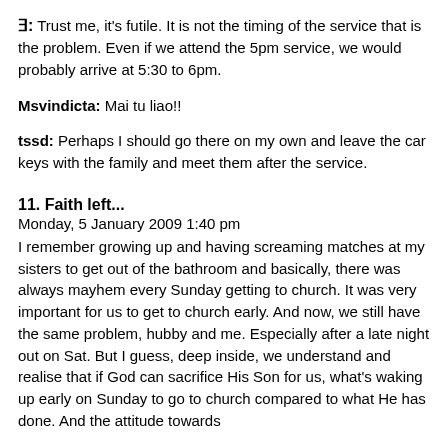Ǝ: Trust me, it's futile. It is not the timing of the service that is the problem. Even if we attend the 5pm service, we would probably arrive at 5:30 to 6pm.
Msvindicta: Mai tu liao!!
tssd: Perhaps I should go there on my own and leave the car keys with the family and meet them after the service.
11. Faith left...
Monday, 5 January 2009 1:40 pm
I remember growing up and having screaming matches at my sisters to get out of the bathroom and basically, there was always mayhem every Sunday getting to church. It was very important for us to get to church early. And now, we still have the same problem, hubby and me. Especially after a late night out on Sat. But I guess, deep inside, we understand and realise that if God can sacrifice His Son for us, what's waking up early on Sunday to go to church compared to what He has done. And the attitude towards